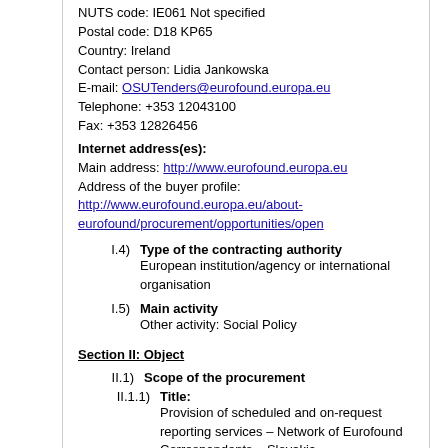NUTS code: IE061 Not specified
Postal code: D18 KP65
Country: Ireland
Contact person: Lidia Jankowska
E-mail: OSUTenders@eurofound.europa.eu
Telephone: +353 12043100
Fax: +353 12826456
Internet address(es):
Main address: http://www.eurofound.europa.eu
Address of the buyer profile: http://www.eurofound.europa.eu/about-eurofound/procurement/opportunities/open
I.4) Type of the contracting authority
European institution/agency or international organisation
I.5) Main activity
Other activity: Social Policy
Section II: Object
II.1) Scope of the procurement
II.1.1) Title:
Provision of scheduled and on-request reporting services – Network of Eurofound Correspondents – Slovakia